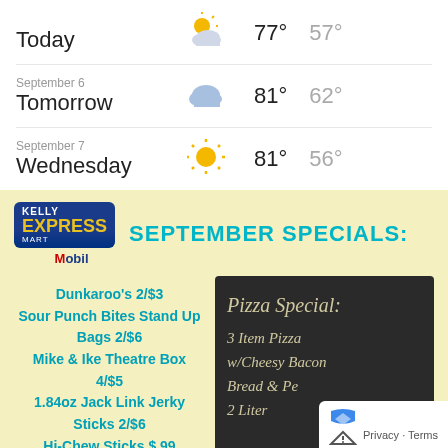| Day | Date | Icon | High | Low |
| --- | --- | --- | --- | --- |
| Today |  | partly cloudy | 77° | 57° |
| Tomorrow | September 6 | cloudy | 81° | 62° |
| Wednesday | September 7 | sunny | 81° | 56° |
[Figure (logo): Kelly Express Mart Mobil logo]
SEPTEMBER SPECIALS:
Dunkaroo's 2/$3
Sour Punch Bites Stand Up Bags 2/$6
Mike & Ike Theatre Box 4/$5
1.84oz Jack Link Jerky Sticks 2/$6
Hi-Chew Sticks $.99
Pizza Special: 3 Item Pizza w/Cheesy Bacon Bread & Pe 2 Liter